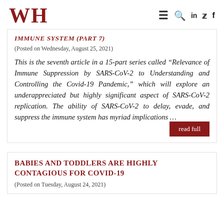WH
IMMUNE SYSTEM (PART 7)
(Posted on Wednesday, August 25, 2021)
This is the seventh article in a 15-part series called “Relevance of Immune Suppression by SARS-CoV-2 to Understanding and Controlling the Covid-19 Pandemic,” which will explore an underappreciated but highly significant aspect of SARS-CoV-2 replication. The ability of SARS-CoV-2 to delay, evade, and suppress the immune system has myriad implications ...
BABIES AND TODDLERS ARE HIGHLY CONTAGIOUS FOR COVID-19
(Posted on Tuesday, August 24, 2021)